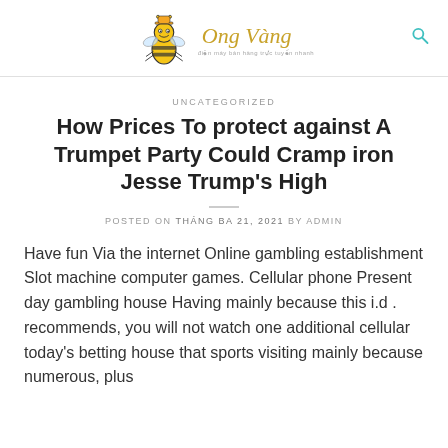Ong Vàng
UNCATEGORIZED
How Prices To protect against A Trumpet Party Could Cramp iron Jesse Trump's High
POSTED ON THÁNG BA 21, 2021 BY ADMIN
Have fun Via the internet Online gambling establishment Slot machine computer games. Cellular phone Present day gambling house Having mainly because this i.d . recommends, you will not watch one additional cellular today's betting house that sports visiting mainly because numerous, plus